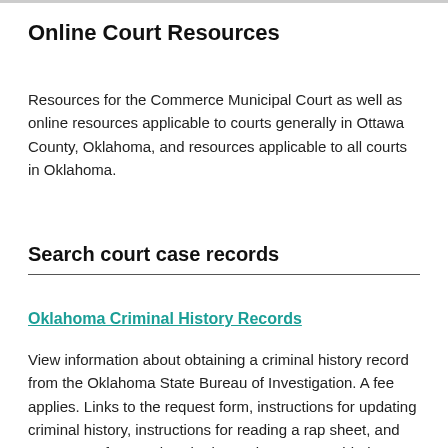Online Court Resources
Resources for the Commerce Municipal Court as well as online resources applicable to courts generally in Ottawa County, Oklahoma, and resources applicable to all courts in Oklahoma.
Search court case records
Oklahoma Criminal History Records
View information about obtaining a criminal history record from the Oklahoma State Bureau of Investigation. A fee applies. Links to the request form, instructions for updating criminal history, instructions for reading a rap sheet, and answers to frequently asked questions are provided.